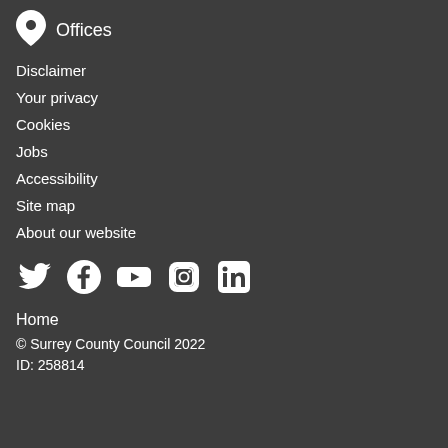Offices
Disclaimer
Your privacy
Cookies
Jobs
Accessibility
Site map
About our website
[Figure (infographic): Social media icons: Twitter, Facebook, YouTube, Instagram, LinkedIn]
Home
© Surrey County Council 2022
ID: 258814